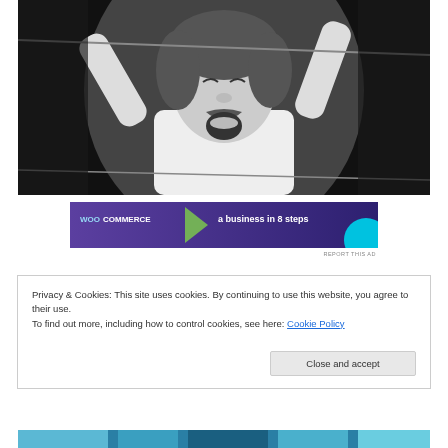[Figure (photo): Black and white photo of a man with mustache, arms raised in celebration, wearing a white long-sleeve shirt, appearing to be in a wrestling ring or similar venue]
[Figure (other): WooCommerce advertisement banner: purple/dark blue background with WooCommerce logo and text 'a business in 8 steps', with a teal circle accent]
REPORT THIS AD
Privacy & Cookies: This site uses cookies. By continuing to use this website, you agree to their use.
To find out more, including how to control cookies, see here: Cookie Policy
Close and accept
[Figure (photo): Partial photo at bottom of page showing colorful image, partially visible]